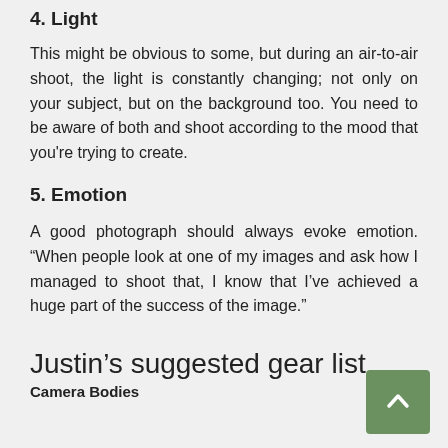4. Light
This might be obvious to some, but during an air-to-air shoot, the light is constantly changing; not only on your subject, but on the background too. You need to be aware of both and shoot according to the mood that you're trying to create.
5. Emotion
A good photograph should always evoke emotion. “When people look at one of my images and ask how I managed to shoot that, I know that I’ve achieved a huge part of the success of the image.”
Justin’s suggested gear list
Camera Bodies